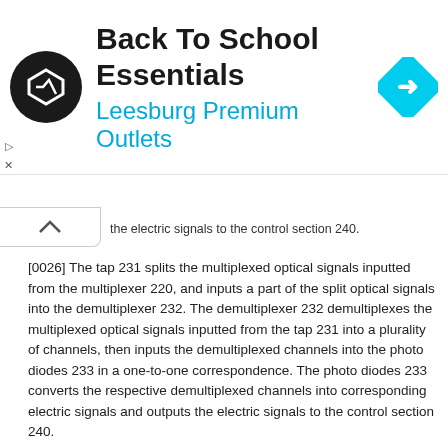[Figure (other): Advertisement banner for Back To School Essentials at Leesburg Premium Outlets, with circular logo and navigation icon]
the electric signals to the control section 240.
[0026] The tap 231 splits the multiplexed optical signals inputted from the multiplexer 220, and inputs a part of the split optical signals into the demultiplexer 232. The demultiplexer 232 demultiplexes the multiplexed optical signals inputted from the tap 231 into a plurality of channels, then inputs the demultiplexed channels into the photo diodes 233 in a one-to-one correspondence. The photo diodes 233 converts the respective demultiplexed channels into corresponding electric signals and outputs the electric signals to the control section 240.
[0027] The control section 240 calculates the intensity deviation for each channel by comparing each intensity of the electric signals inputted from the optical-detection section 230 with a preset reference intensity, and then outputs compensation signals used for compensating the intensity deviation of each channel to the semiconductor-amplification section 210.
[0028] As described above, as the semiconductor-amplification section according to the present invention is utilized as a means for flattening the gain of the optical intensity of each channel, the optical-intensity loss of